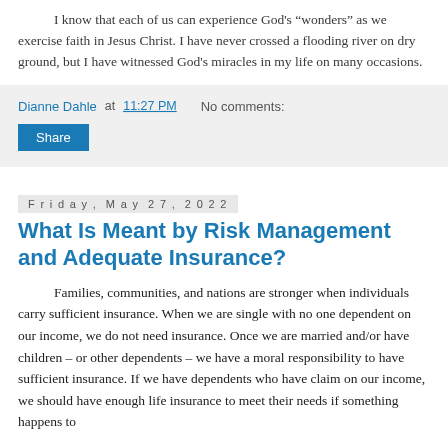I know that each of us can experience God’s “wonders” as we exercise faith in Jesus Christ. I have never crossed a flooding river on dry ground, but I have witnessed God’s miracles in my life on many occasions.
Dianne Dahle at 11:27 PM   No comments:
Share
Friday, May 27, 2022
What Is Meant by Risk Management and Adequate Insurance?
Families, communities, and nations are stronger when individuals carry sufficient insurance. When we are single with no one dependent on our income, we do not need insurance. Once we are married and/or have children – or other dependents – we have a moral responsibility to have sufficient insurance. If we have dependents who have claim on our income, we should have enough life insurance to meet their needs if something happens to